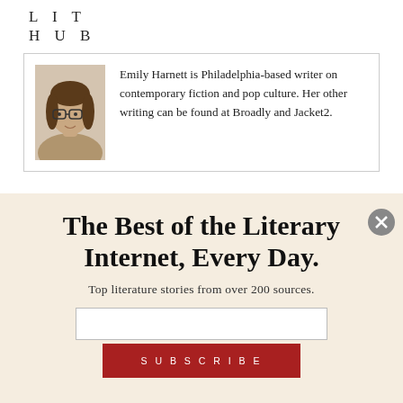LIT
HUB
Emily Harnett is Philadelphia-based writer on contemporary fiction and pop culture. Her other writing can be found at Broadly and Jacket2.
The Best of the Literary Internet, Every Day.
Top literature stories from over 200 sources.